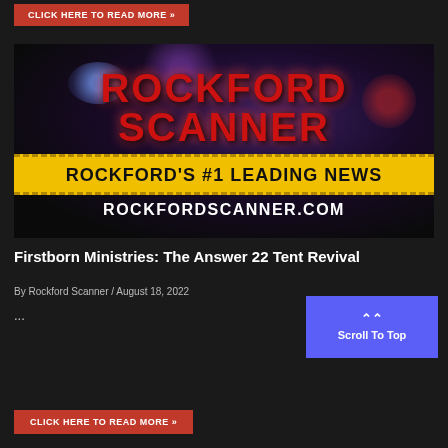CLICK HERE TO READ MORE »
[Figure (logo): Rockford Scanner logo image with red text 'ROCKFORD SCANNER' on dark background with police lights bokeh effect, yellow caution tape banner reading 'ROCKFORD'S #1 LEADING NEWS', and white text 'ROCKFORDSCANNER.COM']
Firstborn Ministries: The Answer 22 Tent Revival
By Rockford Scanner / August 18, 2022
...
Scroll To Top
CLICK HERE TO READ MORE »